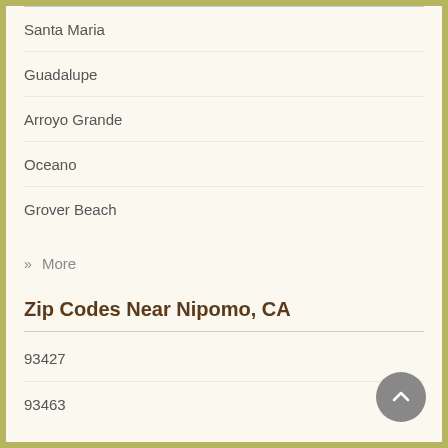Santa Maria
Guadalupe
Arroyo Grande
Oceano
Grover Beach
» More
Zip Codes Near Nipomo, CA
93427
93463